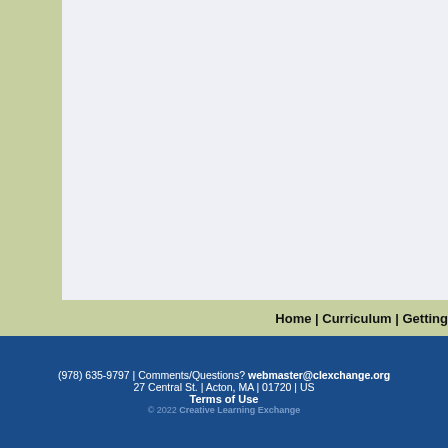Home | Curriculum | Getting
(978) 635-9797 | Comments/Questions? webmaster@clexchange.org
27 Central St. | Acton, MA | 01720 | US
Terms of Use
© 2022 Creative Learning Exchange